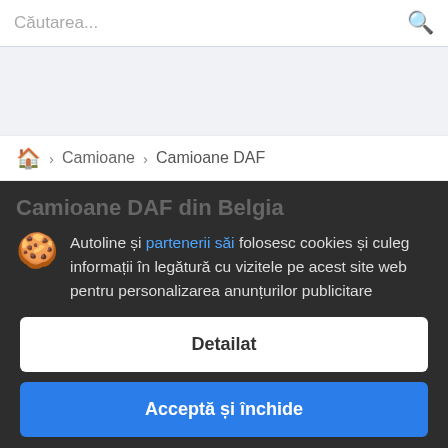Căutarea...
Autoline și partenerii săi folosesc cookies și culeg informații în legătură cu vizitele pe acest site web pentru personalizarea anunțurilor publicitare
Detailat
Acceptă și închide
Camioane DAF din Belgia: 165 anunțuri